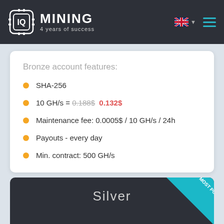IQ MINING — 4 years of success
Bronze account features:
SHA-256
10 GH/s = 0.188$ 0.132$
Maintenance fee: 0.0005$ / 10 GH/s / 24h
Payouts - every day
Min. contract: 500 GH/s
Silver
MOST POPULAR